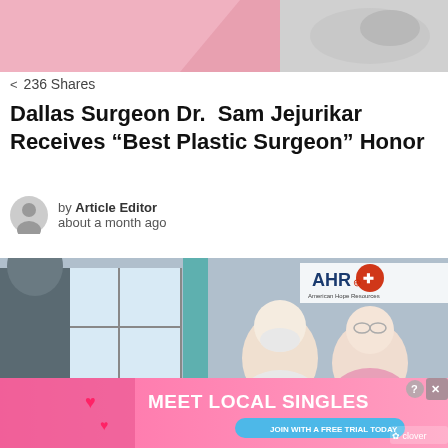[Figure (photo): Top banner photo showing gloved medical hands on pink background]
236 Shares
Dallas Surgeon Dr. Sam Jejurikar Receives "Best Plastic Surgeon" Honor
by Article Editor
about a month ago
[Figure (photo): Elderly couple smiling at a medical professional, with AHR (American Hope Resources) logo overlay in top right]
[Figure (photo): Ad banner: Meet Local Singles - Join with a free trial today - Clover app]